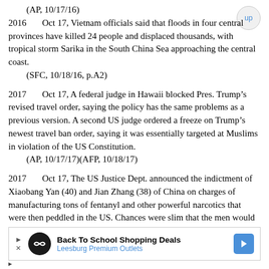(AP, 10/17/16)
2016      Oct 17, Vietnam officials said that floods in four central provinces have killed 24 people and displaced thousands, with tropical storm Sarika in the South China Sea approaching the central coast.
    (SFC, 10/18/16, p.A2)
2017      Oct 17, A federal judge in Hawaii blocked Pres. Trump’s revised travel order, saying the policy has the same problems as a previous version. A second US judge ordered a freeze on Trump’s newest travel ban order, saying it was essentially targeted at Muslims in violation of the US Constitution.
    (AP, 10/17/17)(AFP, 10/18/17)
2017      Oct 17, The US Justice Dept. announced the indictment of Xiaobang Yan (40) and Jian Zhang (38) of China on charges of manufacturing tons of fentanyl and other powerful narcotics that were then peddled in the US. Chances were slim that the men would be
[Figure (other): Advertisement banner: Back To School Shopping Deals - Leesburg Premium Outlets]